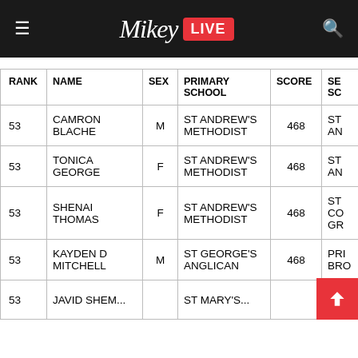Mikey LIVE
| RANK | NAME | SEX | PRIMARY SCHOOL | SCORE | SEC SC... |
| --- | --- | --- | --- | --- | --- |
| 53 | CAMRON BLACHE | M | ST ANDREW'S METHODIST | 468 | ST AN... |
| 53 | TONICA GEORGE | F | ST ANDREW'S METHODIST | 468 | ST AN... |
| 53 | SHENAI THOMAS | F | ST ANDREW'S METHODIST | 468 | ST CO GR... |
| 53 | KAYDEN D MITCHELL | M | ST GEORGE'S ANGLICAN | 468 | PRI BRO... |
| 53 | JAVID SHEM... |  |  | ST MARY'S... |  |  |